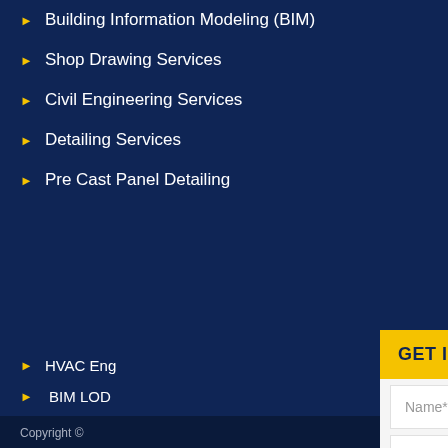Building Information Modeling (BIM)
Shop Drawing Services
Civil Engineering Services
Detailing Services
Pre Cast Panel Detailing
HVAC Eng...
BIM LOD...
Point Clou...
Scan to Bi...
Urban Pla...
Mass Tim...
Structura...
Rebar Det...
Copyright ©
GET IN TOUCH WITH US
Name*
Email*
Phone*
Select Country
Details